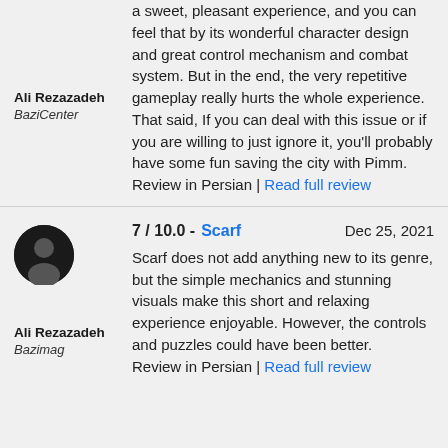a sweet, pleasant experience, and you can feel that by its wonderful character design and great control mechanism and combat system. But in the end, the very repetitive gameplay really hurts the whole experience. That said, If you can deal with this issue or if you are willing to just ignore it, you'll probably have some fun saving the city with Pimm. Review in Persian | Read full review
Ali Rezazadeh
BaziCenter
7 / 10.0 - Scarf   Dec 25, 2021
Scarf does not add anything new to its genre, but the simple mechanics and stunning visuals make this short and relaxing experience enjoyable. However, the controls and puzzles could have been better.
Review in Persian | Read full review
Ali Rezazadeh
Bazimag